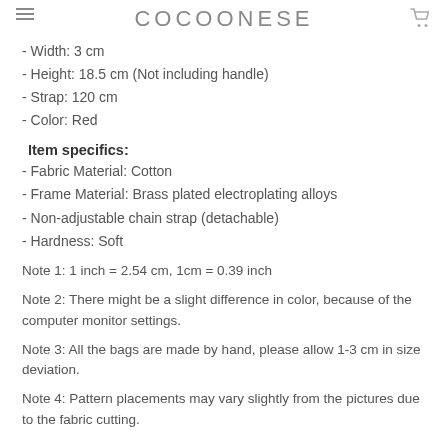COCOONESE
- Width: 3 cm
- Height: 18.5 cm (Not including handle)
- Strap: 120 cm
- Color: Red
Item specifics:
- Fabric Material: Cotton
- Frame Material: Brass plated electroplating alloys
- Non-adjustable chain strap (detachable)
- Hardness: Soft
Note 1: 1 inch = 2.54 cm, 1cm = 0.39 inch
Note 2: There might be a slight difference in color, because of the computer monitor settings.
Note 3: All the bags are made by hand, please allow 1-3 cm in size deviation.
Note 4: Pattern placements may vary slightly from the pictures due to the fabric cutting.